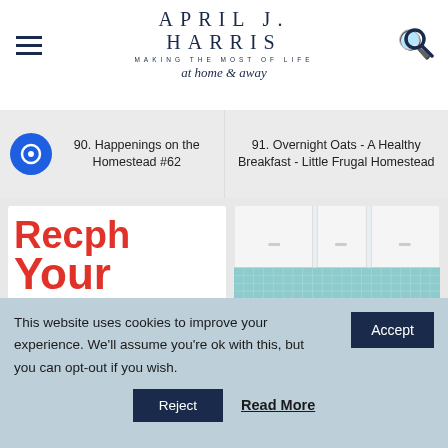APRIL J. HARRIS — MAKING THE MOST OF LIFE at home & away
90. Happenings on the Homestead #62
91. Overnight Oats - A Healthy Breakfast - Little Frugal Homestead
[Figure (photo): Book cover with large red bold text 'Keep Your Blood Sugar' on white background]
[Figure (photo): Bright retro kitchen with teal/blue vintage stove, pink lower cabinets, white upper cabinets, turquoise mosaic backsplash]
This website uses cookies to improve your experience. We'll assume you're ok with this, but you can opt-out if you wish.
Accept
Reject
Read More